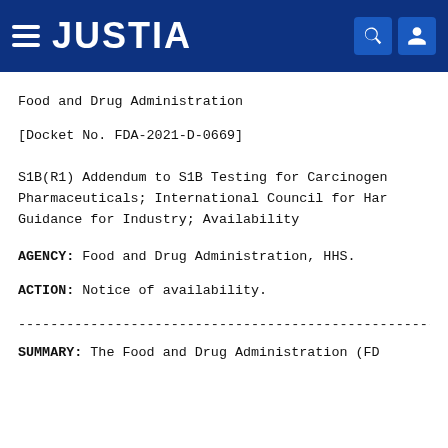JUSTIA
Food and Drug Administration
[Docket No. FDA-2021-D-0669]
S1B(R1) Addendum to S1B Testing for Carcinogenicity of Pharmaceuticals; International Council for Harmonization; Guidance for Industry; Availability
AGENCY: Food and Drug Administration, HHS.
ACTION: Notice of availability.
------------------------------------------------------------------------
SUMMARY: The Food and Drug Administration (FDA...